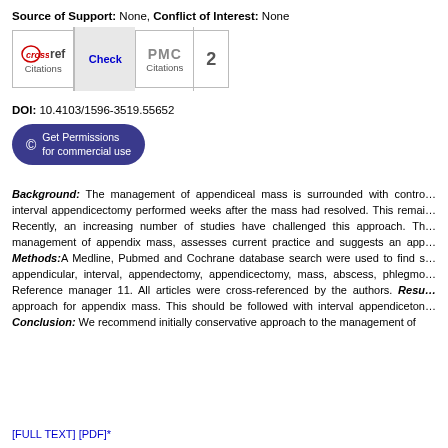Source of Support: None, Conflict of Interest: None
[Figure (other): CrossRef Citations badge with Check button and PMC Citations badge showing 2 citations]
DOI: 10.4103/1596-3519.55652
Get Permissions for commercial use
Background: The management of appendiceal mass is surrounded with controversy. The classical treatment has been interval appendicectomy performed weeks after the mass had resolved. This remains the standard practice. Recently, an increasing number of studies have challenged this approach. This review looks at the management of appendix mass, assesses current practice and suggests an approach. Methods: A Medline, Pubmed and Cochrane database search were used to find studies with key words including appendicular, interval, appendectomy, appendicectomy, mass, abscess, phlegmon. All studies were managed using Reference manager 11. All articles were cross-referenced by the authors. Results: Conservative approach for appendix mass. This should be followed with interval appendicectomy. Conclusion: We recommend initially conservative approach to the management of
[FULL TEXT] [PDF]*